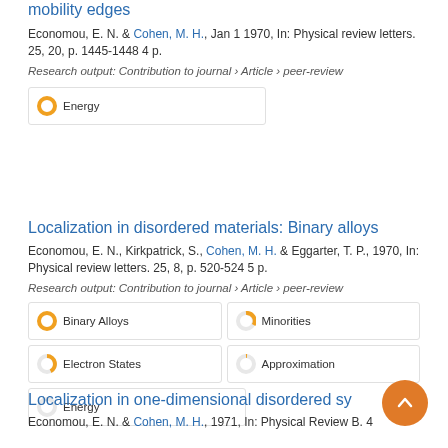mobility edges
Economou, E. N. & Cohen, M. H., Jan 1 1970, In: Physical review letters. 25, 20, p. 1445-1448 4 p.
Research output: Contribution to journal › Article › peer-review
Energy
Localization in disordered materials: Binary alloys
Economou, E. N., Kirkpatrick, S., Cohen, M. H. & Eggarter, T. P., 1970, In: Physical review letters. 25, 8, p. 520-524 5 p.
Research output: Contribution to journal › Article › peer-review
Binary Alloys
Minorities
Electron States
Approximation
Energy
Localization in one-dimensional disordered sy
Economou, E. N. & Cohen, M. H., 1971, In: Physical Review B. 4